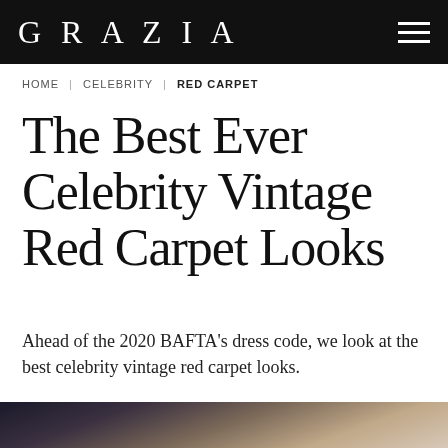GRAZIA
HOME | CELEBRITY | RED CARPET
The Best Ever Celebrity Vintage Red Carpet Looks
Ahead of the 2020 BAFTA's dress code, we look at the best celebrity vintage red carpet looks.
[Figure (photo): A woman with blonde hair on a red carpet, crowd visible in the background]